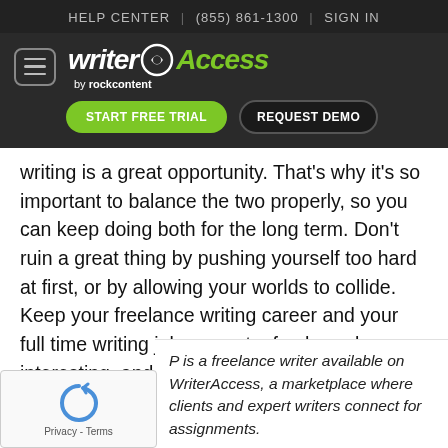HELP CENTER | (855) 861-1300 | SIGN IN
[Figure (logo): WriterAccess by rockcontent logo with START FREE TRIAL and REQUEST DEMO buttons]
writing is a great opportunity. That's why it's so important to balance the two properly, so you can keep doing both for the long term. Don't ruin a great thing by pushing yourself too hard at first, or by allowing your worlds to collide. Keep your freelance writing career and your full time writing job separate, fresh, and interesting, and you'll be able to grow them both for years to come.
[P] is a freelance writer available on WriterAccess, a marketplace where clients and expert writers connect for assignments.